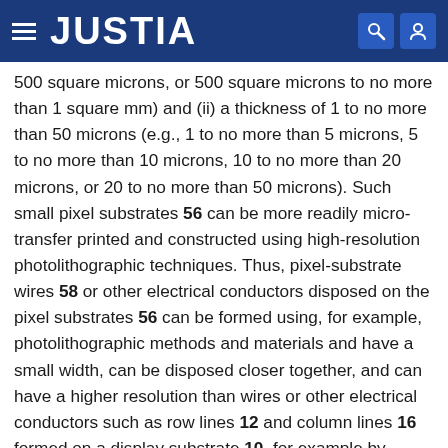JUSTIA
500 square microns, or 500 square microns to no more than 1 square mm) and (ii) a thickness of 1 to no more than 50 microns (e.g., 1 to no more than 5 microns, 5 to no more than 10 microns, 10 to no more than 20 microns, or 20 to no more than 50 microns). Such small pixel substrates 56 can be more readily micro-transfer printed and constructed using high-resolution photolithographic techniques. Thus, pixel-substrate wires 58 or other electrical conductors disposed on the pixel substrates 56 can be formed using, for example, photolithographic methods and materials and have a small width, can be disposed closer together, and can have a higher resolution than wires or other electrical conductors such as row lines 12 and column lines 16 formed on a display substrate 10, for example by large-format photolithography, screen printing, or printed-circuit board construction and assembly techniques.